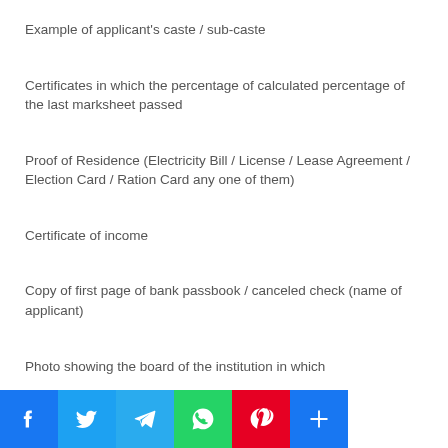Example of applicant's caste / sub-caste
Certificates in which the percentage of calculated percentage of the last marksheet passed
Proof of Residence (Electricity Bill / License / Lease Agreement / Election Card / Ration Card any one of them)
Certificate of income
Copy of first page of bank passbook / canceled check (name of applicant)
Photo showing the board of the institution in which
[Figure (infographic): Social media sharing buttons: Facebook, Twitter, Telegram, WhatsApp, Pinterest, Share]